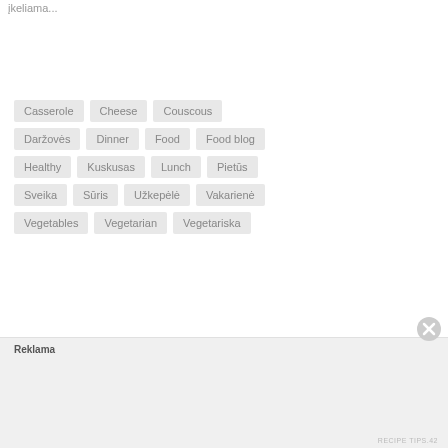įkeliama...
Casserole
Cheese
Couscous
Daržovės
Dinner
Food
Food blog
Healthy
Kuskusas
Lunch
Pietūs
Sveika
Sūris
Užkepėlė
Vakarienė
Vegetables
Vegetarian
Vegetariska
Reklama
RECIPE TIPS.42